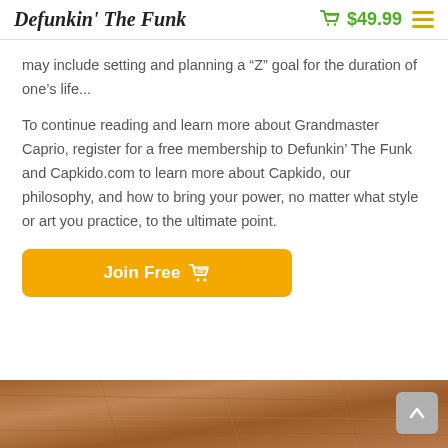Defunkin' The Funk  $49.99
may include setting and planning a “Z” goal for the duration of one’s life...
To continue reading and learn more about Grandmaster Caprio, register for a free membership to Defunkin’ The Funk and Capkido.com to learn more about Capkido, our philosophy, and how to bring your power, no matter what style or art you practice, to the ultimate point.
[Figure (other): Orange rounded rectangle button with white text 'Join Free' and a shopping basket icon]
[Figure (photo): Brown leather texture strip at the bottom of the page]